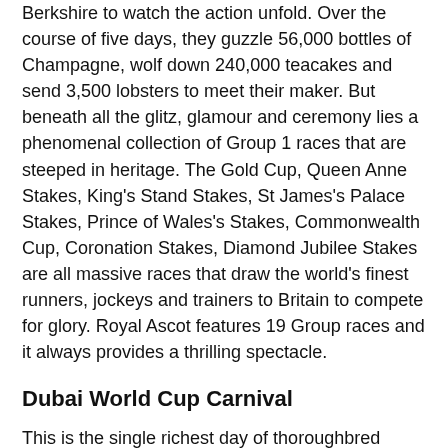Berkshire to watch the action unfold. Over the course of five days, they guzzle 56,000 bottles of Champagne, wolf down 240,000 teacakes and send 3,500 lobsters to meet their maker. But beneath all the glitz, glamour and ceremony lies a phenomenal collection of Group 1 races that are steeped in heritage. The Gold Cup, Queen Anne Stakes, King's Stand Stakes, St James's Palace Stakes, Prince of Wales's Stakes, Commonwealth Cup, Coronation Stakes, Diamond Jubilee Stakes are all massive races that draw the world's finest runners, jockeys and trainers to Britain to compete for glory. Royal Ascot features 19 Group races and it always provides a thrilling spectacle.
Dubai World Cup Carnival
This is the single richest day of thoroughbred racing in the world, with a total prize purse of $35 million on offer in 2019. That level of investment ensures that many of the world's finest sprinters and stayers head to the Meydan Racecourse to fight for fame and fortune. The centrepiece is the Dubai World Cup, the world's richest race with a prize pool of $12 million. Godolphin star Thunder Snow secured a second